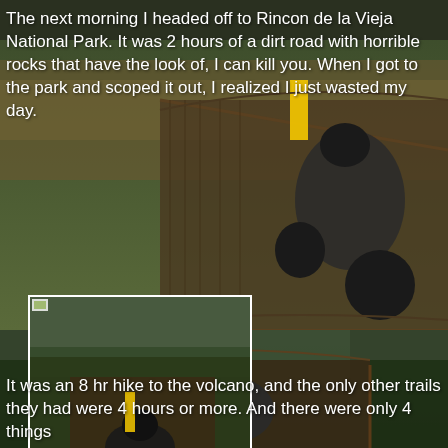[Figure (photo): Motorcyclist on a wooden suspension bridge over a turbulent river, seen from behind. Lush green jungle in the background with mist. Yellow posts visible at the bridge entrance. A white-bordered inset photo in the lower-left area shows a closer view of the same or similar scene.]
The next morning I headed off to Rincon de la Vieja National Park. It was 2 hours of a dirt road with horrible rocks that have the look of, I can kill you. When I got to the park and scoped it out, I realized I just wasted my day.
It was an 8 hr hike to the volcano, and the only other trails they had were 4 hours or more. And there were only 4 things